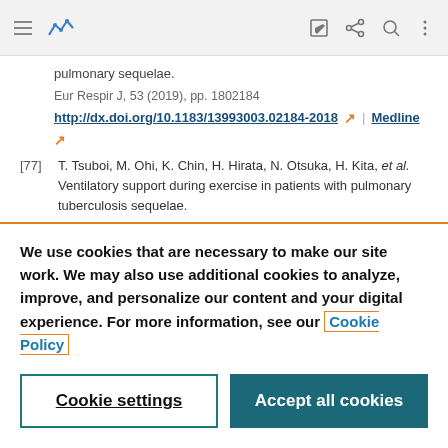Navigation bar with menu, logo, edit, share, search, and more icons
pulmonary sequelae.
Eur Respir J, 53 (2019), pp. 1802184
http://dx.doi.org/10.1183/13993003.02184-2018 | Medline
[77] T. Tsuboi, M. Ohi, K. Chin, H. Hirata, N. Otsuka, H. Kita, et al. Ventilatory support during exercise in patients with pulmonary tuberculosis sequelae.
We use cookies that are necessary to make our site work. We may also use additional cookies to analyze, improve, and personalize our content and your digital experience. For more information, see our Cookie Policy
Cookie settings | Accept all cookies